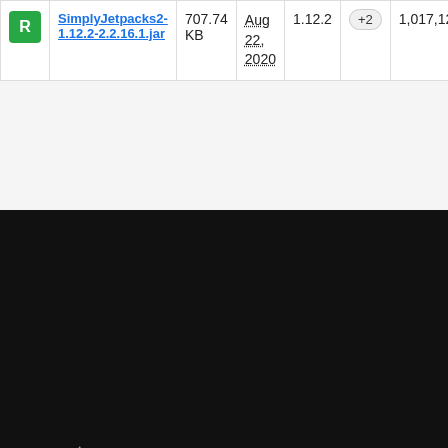|  | File | Size | Date | Version |  | Downloads |
| --- | --- | --- | --- | --- | --- | --- |
| R | SimplyJetpacks2-1.12.2-2.2.16.1.jar | 707.74 KB | Aug 22, 2020 | 1.12.2 | +2 | 1,017,120 |
[Figure (logo): Overwolf wolf logo in grey/white on dark background]
Creators
Gamers
Build an App
Discover Mods
Publish a mod
Discover Apps
Why Overwolf
Gameplay First